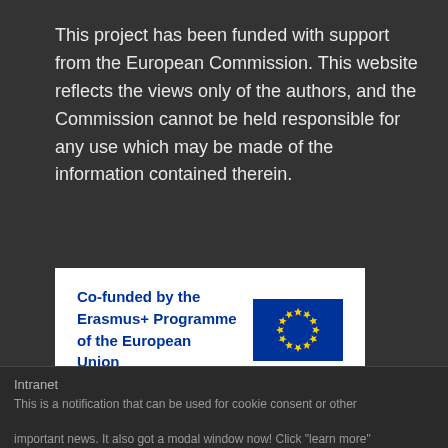This project has been funded with support from the European Commission. This website reflects the views only of the authors, and the Commission cannot be held responsible for any use which may be made of the information contained therein.
[Figure (logo): Co-funded by the Erasmus+ Programme of the European Union logo with EU flag (blue rectangle with circle of 12 yellow stars)]
Intranet
This is a notification that can be used for cookie consent or other important news. It also got a modal window now! Click "learn more"